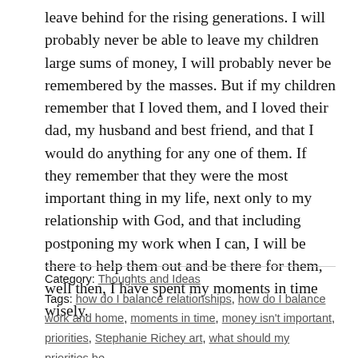leave behind for the rising generations. I will probably never be able to leave my children large sums of money, I will probably never be remembered by the masses. But if my children remember that I loved them, and I loved their dad, my husband and best friend, and that I would do anything for any one of them. If they remember that they were the most important thing in my life, next only to my relationship with God, and that including postponing my work when I can, I will be there to help them out and be there for them, well then, I have spent my moments in time wisely.
Category: Thoughts and Ideas
Tags: how do I balance relationships, how do I balance work and home, moments in time, money isn't important, priorities, Stephanie Richey art, what should my priorities be